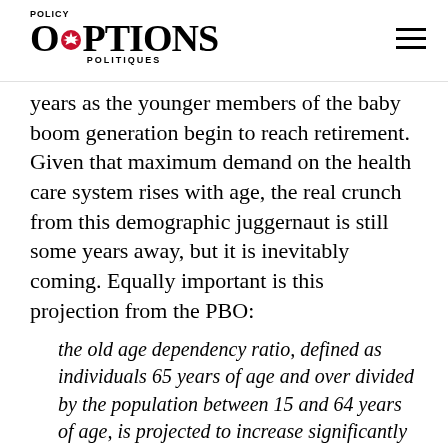POLICY OPTIONS POLITIQUES
years as the younger members of the baby boom generation begin to reach retirement. Given that maximum demand on the health care system rises with age, the real crunch from this demographic juggernaut is still some years away, but it is inevitably coming. Equally important is this projection from the PBO:
the old age dependency ratio, defined as individuals 65 years of age and over divided by the population between 15 and 64 years of age, is projected to increase significantly in the coming decade rising to 26.7 percent by 2019, a 7 percentage point increase, which is